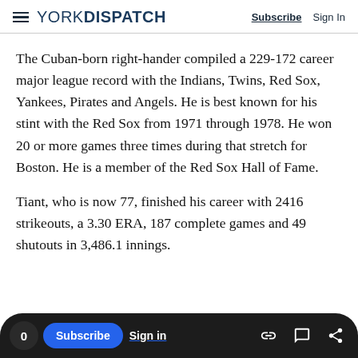YORK DISPATCH — Subscribe  Sign In
The Cuban-born right-hander compiled a 229-172 career major league record with the Indians, Twins, Red Sox, Yankees, Pirates and Angels. He is best known for his stint with the Red Sox from 1971 through 1978. He won 20 or more games three times during that stretch for Boston. He is a member of the Red Sox Hall of Fame.
Tiant, who is now 77, finished his career with 2416 strikeouts, a 3.30 ERA, 187 complete games and 49 shutouts in 3,486.1 innings.
0  Subscribe  Sign in